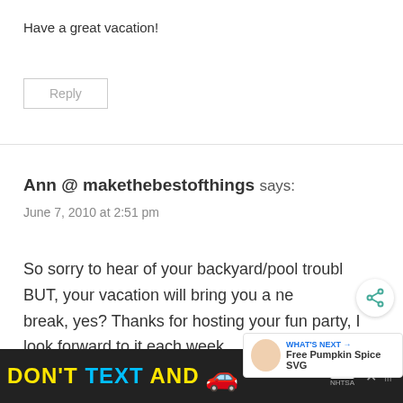Have a great vacation!
Reply
Ann @ makethebestofthings says:
June 7, 2010 at 2:51 pm
So sorry to hear of your backyard/pool troubl BUT, your vacation will bring you a ne break, yes? Thanks for hosting your fun party, I look forward to it each week
[Figure (screenshot): Share icon (circular button with share symbol)]
[Figure (screenshot): What's Next promo box showing Free Pumpkin Spice SVG with woman's face thumbnail]
[Figure (screenshot): Ad banner: DON'T TEXT AND [car emoji] ad by NHTSA with close button]